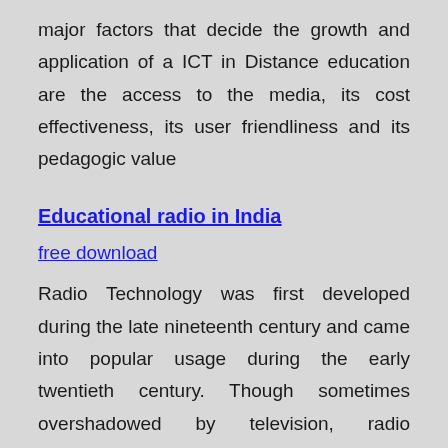major factors that decide the growth and application of a ICT in Distance education are the access to the media, its cost effectiveness, its user friendliness and its pedagogic value
Educational radio in India
free download
Radio Technology was first developed during the late nineteenth century and came into popular usage during the early twentieth century. Though sometimes overshadowed by television, radio represents a medium capable of reaching a wide geographic audience at a
Quality education in India : A mission